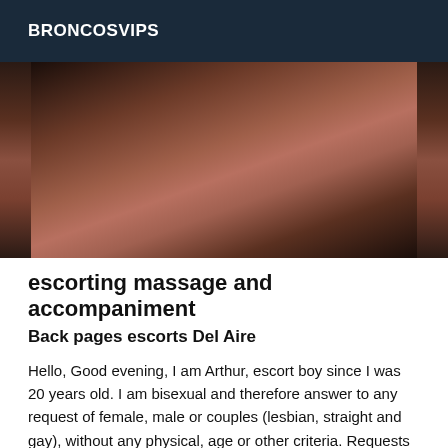BRONCOSVIPS
[Figure (photo): Photograph showing a person's legs against a dark background]
escorting massage and accompaniment
Back pages escorts Del Aire
Hello, Good evening, I am Arthur, escort boy since I was 20 years old. I am bisexual and therefore answer to any request of female, male or couples (lesbian, straight and gay), without any physical, age or other criteria. Requests for appointments for a minimum of three or more people will be considered in principle but are entirely possible. I work in USA, in Del Aire and especially in Del Aire. I accompany you in your furtive